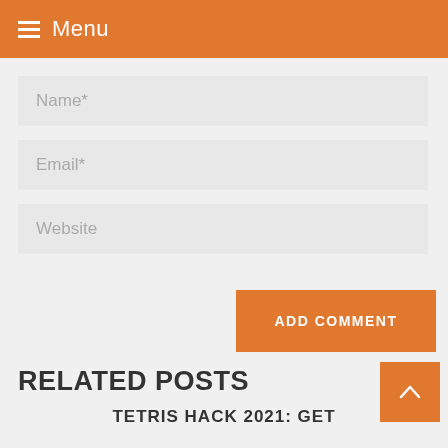Menu
Name*
Email*
Website
ADD COMMENT
Search the site
RELATED POSTS
TETRIS HACK 2021: GET